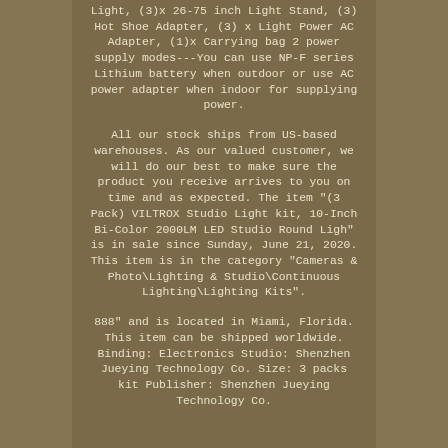Light, (3)x 26-75 inch Light Stand, (3) Hot Shoe Adapter, (3) x Light Power AC Adapter, (1)x Carrying bag 2 power supply modes---You can use NP-F series Lithium battery when outdoor or use AC power adapter when indoor for supplying power.
All our stock ships from US-based warehouses. As our valued customer, we will do our best to make sure the product you receive arrives to you on time and as expected. The item "(3 Pack) VILTROX Studio Light kit, 10-Inch Bi-Color 2000LM LED Studio Round Ligh" is in sale since Sunday, June 21, 2020. This item is in the category "Cameras & Photo\Lighting & Studio\Continuous Lighting\Lighting Kits".
888" and is located in Miami, Florida. This item can be shipped worldwide. Binding: Electronics Studio: Shenzhen Jueying Technology Co. Size: 3 packs kit Publisher: Shenzhen Jueying Technology Co.